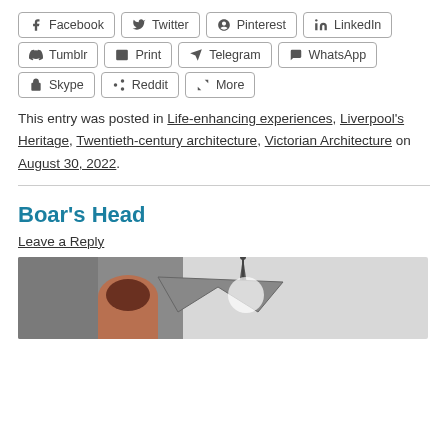Facebook
Twitter
Pinterest
LinkedIn
Tumblr
Print
Telegram
WhatsApp
Skype
Reddit
More
This entry was posted in Life-enhancing experiences, Liverpool’s Heritage, Twentieth-century architecture, Victorian Architecture on August 30, 2022.
Boar’s Head
Leave a Reply
[Figure (photo): Photograph of a historic building with a spire and ornate Victorian architecture details, brick arched window visible, grey sky background.]